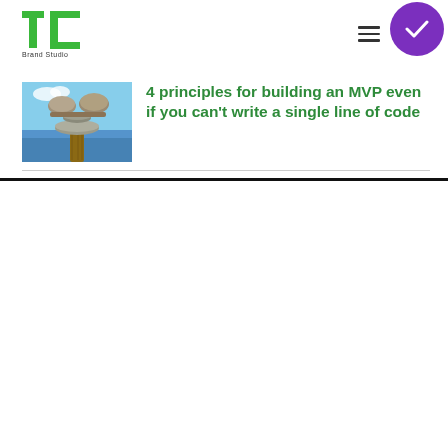TechCrunch Brand Studio
[Figure (illustration): Balanced stacked stones on a wooden post with ocean/sky background — a balance/scale metaphor photo]
4 principles for building an MVP even if you can't write a single line of code